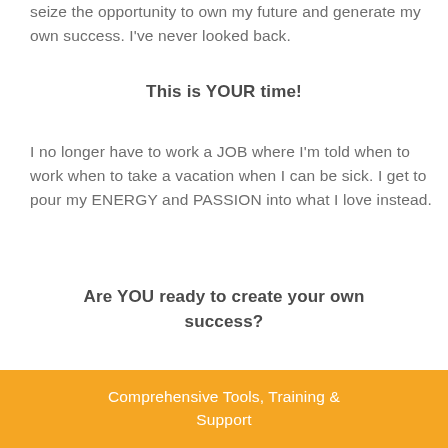seize the opportunity to own my future and generate my own success. I've never looked back.
This is YOUR time!
I no longer have to work a JOB where I'm told when to work when to take a vacation when I can be sick. I get to pour my ENERGY and PASSION into what I love instead.
Are YOU ready to create your own success?
Comprehensive Tools, Training & Support